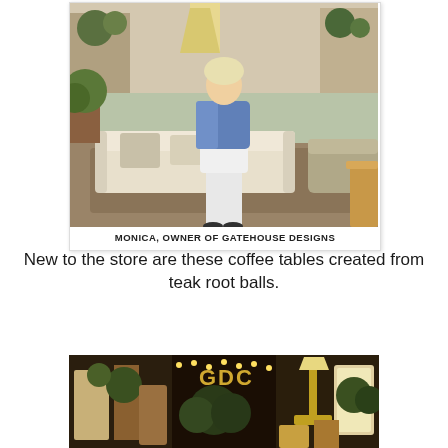[Figure (photo): Monica, owner of Gatehouse Designs, standing in the furniture showroom wearing a white dress and denim jacket, surrounded by sofas, rugs, plants and decorative items]
MONICA, OWNER OF GATEHOUSE DESIGNS
New to the store are these coffee tables created from teak root balls.
[Figure (photo): Interior of Gatehouse Designs store showing decorative items, lamps, greenery and signage]